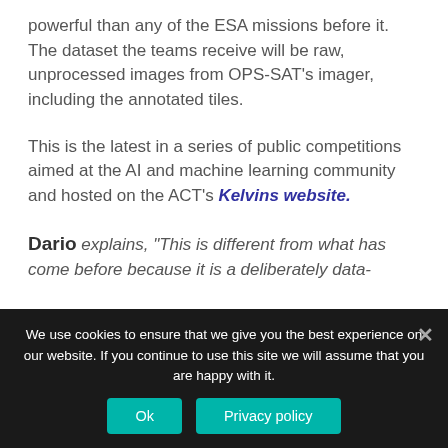powerful than any of the ESA missions before it. The dataset the teams receive will be raw, unprocessed images from OPS-SAT's imager, including the annotated tiles.
This is the latest in a series of public competitions aimed at the AI and machine learning community and hosted on the ACT's Kelvins website.
Dario explains, “This is different from what has come before because it is a deliberately data-
We use cookies to ensure that we give you the best experience on our website. If you continue to use this site we will assume that you are happy with it.